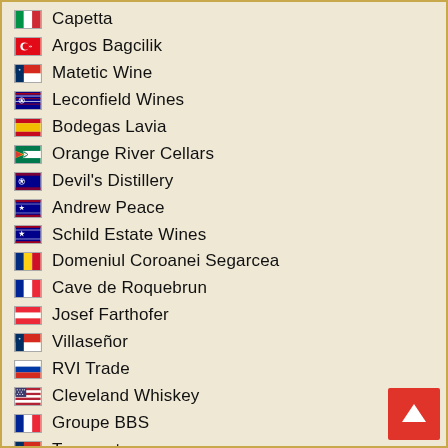Capetta
Argos Bagcilik
Matetic Wine
Leconfield Wines
Bodegas Lavia
Orange River Cellars
Devil's Distillery
Andrew Peace
Schild Estate Wines
Domeniul Coroanei Segarcea
Cave de Roquebrun
Josef Farthofer
Villaseñor
RVI Trade
Cleveland Whiskey
Groupe BBS
Terramater
Hacienda El Condor
Tre Monti
Alberto Paltrinieri